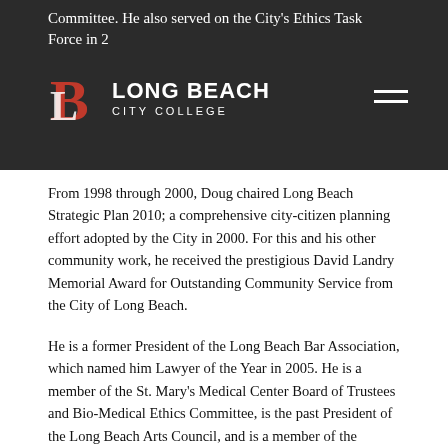Committee. He also served on the City's Ethics Task Force in 2
[Figure (logo): Long Beach City College logo with red LB letters and white text on dark background]
From 1998 through 2000, Doug chaired Long Beach Strategic Plan 2010; a comprehensive city-citizen planning effort adopted by the City in 2000. For this and his other community work, he received the prestigious David Landry Memorial Award for Outstanding Community Service from the City of Long Beach.
He is a former President of the Long Beach Bar Association, which named him Lawyer of the Year in 2005. He is a member of the St. Mary's Medical Center Board of Trustees and Bio-Medical Ethics Committee, is the past President of the Long Beach Arts Council, and is a member of the California State Bar Association, Access to Justice Commission.
In 2004, he was elected as the Long Beach City College Trustee for Area 4.
Please contact Doug directly with questions, input or